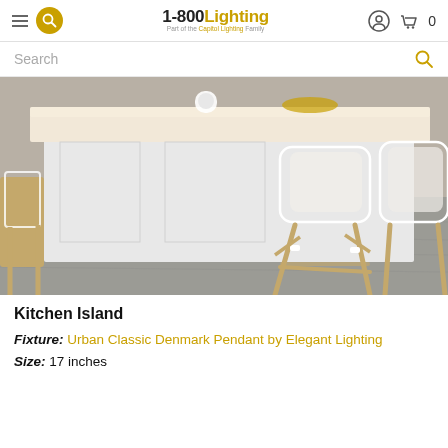1-800Lighting — Part of the Capitol Lighting Family
Search
[Figure (photo): Kitchen island with white cabinetry and light countertop, surrounded by rattan bistro-style bar stools with white woven seats and backs, on a gray wood-look floor.]
Kitchen Island
Fixture: Urban Classic Denmark Pendant by Elegant Lighting
Size: 17 inches